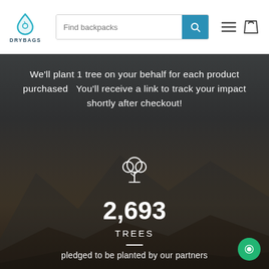[Figure (logo): DRYBAGS logo with teal water drop icon and text DRYBAGS below]
[Figure (screenshot): Search bar with placeholder text 'Find backpacks' and teal search button, navigation hamburger menu and cart icon]
We'll plant 1 tree on your behalf for each product purchased  You'll receive a link to track your impact shortly after checkout!
[Figure (illustration): White outline tree icon]
2,693
TREES
pledged to be planted by our partners